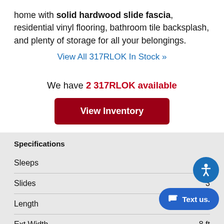home with solid hardwood slide fascia, residential vinyl flooring, bathroom tile backsplash, and plenty of storage for all your belongings.
View All 317RLOK In Stock »
We have 2 317RLOK available
View Inventory
Specifications
|  |  |
| --- | --- |
| Sleeps | 4 |
| Slides | 3 |
| Length | 36 |
| Ext Width | 8 ft |
| Ext Height | 10 ft 10 in |